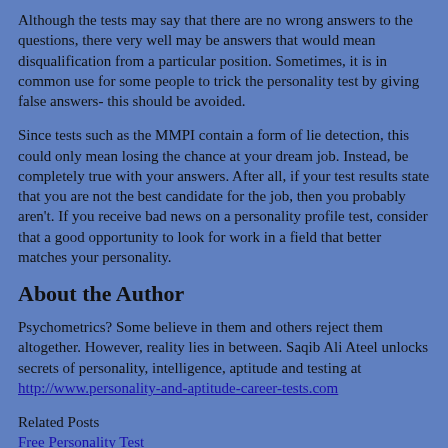Although the tests may say that there are no wrong answers to the questions, there very well may be answers that would mean disqualification from a particular position. Sometimes, it is in common use for some people to trick the personality test by giving false answers- this should be avoided.
Since tests such as the MMPI contain a form of lie detection, this could only mean losing the chance at your dream job. Instead, be completely true with your answers. After all, if your test results state that you are not the best candidate for the job, then you probably aren't. If you receive bad news on a personality profile test, consider that a good opportunity to look for work in a field that better matches your personality.
About the Author
Psychometrics? Some believe in them and others reject them altogether. However, reality lies in between. Saqib Ali Ateel unlocks secrets of personality, intelligence, aptitude and testing at http://www.personality-and-aptitude-career-tests.com
Related Posts
Free Personality Test
Are you looking for a free personality test? I introduce you an